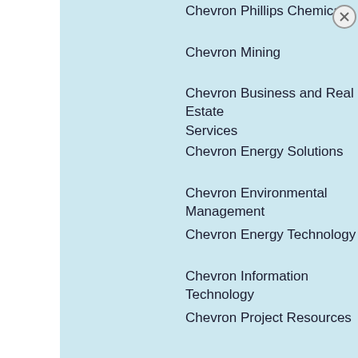Chevron Phillips Chemical
Chevron Mining
Chevron Business and Real Estate Services
Chevron Energy Solutions
Chevron Environmental Management
Chevron Energy Technology
Chevron Information Technology
Chevron Project Resources
Chevron Strategic Research
Chevron Technology Marketing
Chevron Technology Ventures
Website  Chevron.com
Chevron Corporation (NYSE: CVX) is the world’s fourth-largest... in San Ramon... more than 180 countries, it is engaged in every aspect of the oil and...